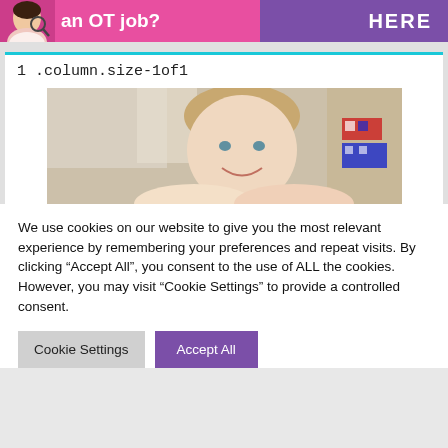[Figure (photo): Pink and purple banner advertisement with a woman photo, text 'an OT job?' in white on pink background, and 'HERE' in white on purple background]
1 .column.size-1of1
[Figure (photo): Photo of a smiling woman with blonde hair in what appears to be a medical or therapy setting, with colorful boat decorations visible in background]
We use cookies on our website to give you the most relevant experience by remembering your preferences and repeat visits. By clicking “Accept All”, you consent to the use of ALL the cookies. However, you may visit “Cookie Settings” to provide a controlled consent.
Cookie Settings
Accept All